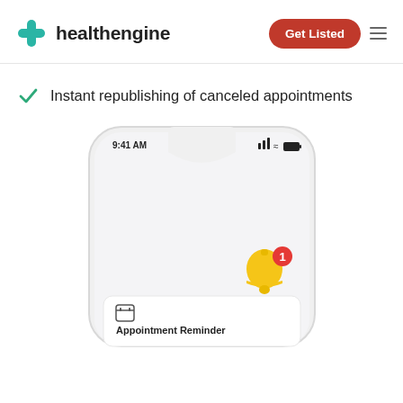[Figure (logo): Healthengine logo with teal cross icon and dark bold text 'healthengine']
[Figure (other): Orange 'Get Listed' button and hamburger menu icon in header]
Instant republishing of canceled appointments
[Figure (screenshot): Smartphone mockup showing iOS-style screen with status bar (9:41 AM), a golden bell notification icon with red badge showing '1', and an Appointment Reminder card with calendar icon at the bottom]